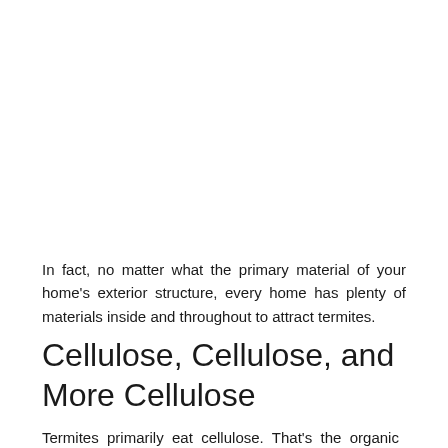In fact, no matter what the primary material of your home's exterior structure, every home has plenty of materials inside and throughout to attract termites.
Cellulose, Cellulose, and More Cellulose
Termites primarily eat cellulose. That's the organic